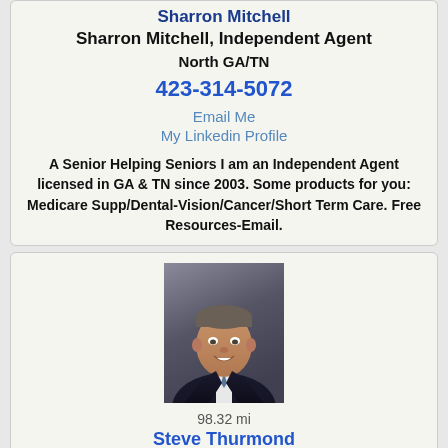Sharron Mitchell
Sharron Mitchell, Independent Agent
North GA/TN
423-314-5072
Email Me
My Linkedin Profile
A Senior Helping Seniors I am an Independent Agent licensed in GA & TN since 2003. Some products for you: Medicare Supp/Dental-Vision/Cancer/Short Term Care. Free Resources-Email.
[Figure (photo): Professional headshot of Steve Thurmond, a middle-aged man in a dark suit, smiling against a dark background.]
98.32 mi
Steve Thurmond
Forward Financial, LLC